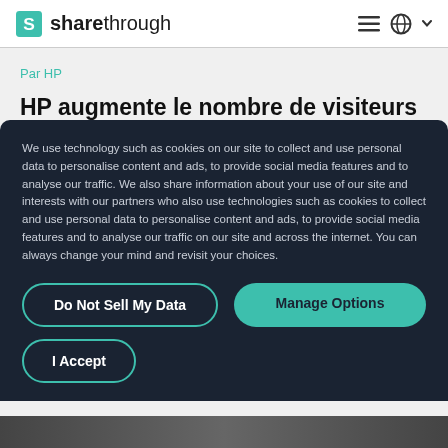sharethrough
Par HP
HP augmente le nombre de visiteurs en magasin et accroît la notoriété de ses produits
We use technology such as cookies on our site to collect and use personal data to personalise content and ads, to provide social media features and to analyse our traffic. We also share information about your use of our site and interests with our partners who also use technologies such as cookies to collect and use personal data to personalise content and ads, to provide social media features and to analyse our traffic on our site and across the internet. You can always change your mind and revisit your choices.
Do Not Sell My Data
Manage Options
I Accept